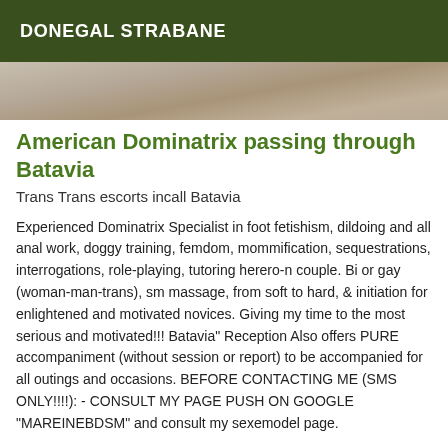DONEGAL STRABANE
[Figure (photo): Partial photo visible as a strip at the top of the listing content area]
American Dominatrix passing through Batavia
Trans Trans escorts incall Batavia
Experienced Dominatrix Specialist in foot fetishism, dildoing and all anal work, doggy training, femdom, mommification, sequestrations, interrogations, role-playing, tutoring herero-n couple. Bi or gay (woman-man-trans), sm massage, from soft to hard, & initiation for enlightened and motivated novices. Giving my time to the most serious and motivated!!! Batavia" Reception Also offers PURE accompaniment (without session or report) to be accompanied for all outings and occasions. BEFORE CONTACTING ME (SMS ONLY!!!!): - CONSULT MY PAGE PUSH ON GOOGLE "MAREINEBDSM" and consult my sexemodel page.